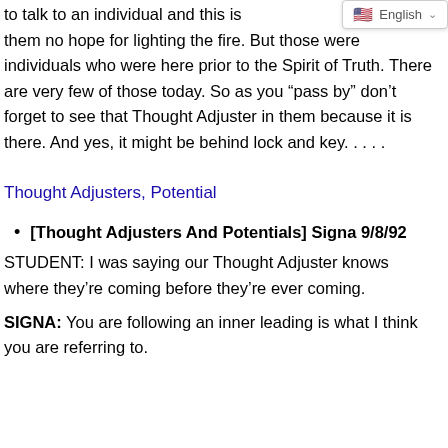to talk to an individual and this is [cut off] see within them no hope for lighting the fire. But those were individuals who were here prior to the Spirit of Truth. There are very few of those today. So as you “pass by” don’t forget to see that Thought Adjuster in them because it is there. And yes, it might be behind lock and key. . . . .
Thought Adjusters, Potential
[Thought Adjusters And Potentials] Signa 9/8/92
STUDENT: I was saying our Thought Adjuster knows where they’re coming before they’re ever coming.
SIGNA: You are following an inner leading is what I think you are referring to.